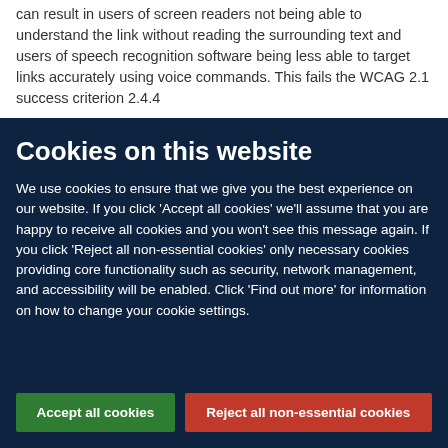can result in users of screen readers not being able to understand the link without reading the surrounding text and users of speech recognition software being less able to target links accurately using voice commands. This fails the WCAG 2.1 success criterion 2.4.4
Cookies on this website
We use cookies to ensure that we give you the best experience on our website. If you click 'Accept all cookies' we'll assume that you are happy to receive all cookies and you won't see this message again. If you click 'Reject all non-essential cookies' only necessary cookies providing core functionality such as security, network management, and accessibility will be enabled. Click 'Find out more' for information on how to change your cookie settings.